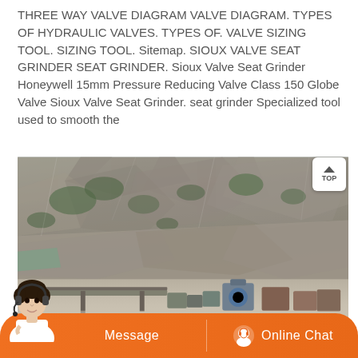THREE WAY VALVE DIAGRAM VALVE DIAGRAM. TYPES OF HYDRAULIC VALVES. TYPES OF. VALVE SIZING TOOL. SIZING TOOL. Sitemap. SIOUX VALVE SEAT GRINDER SEAT GRINDER. Sioux Valve Seat Grinder Honeywell 15mm Pressure Reducing Valve Class 150 Globe Valve Sioux Valve Seat Grinder. seat grinder Specialized tool used to smooth the
[Figure (photo): Aerial/side view of a quarry or mining site showing rocky cliff face with vegetation, industrial machinery, conveyor belts, and equipment at the base of the rocky terrain.]